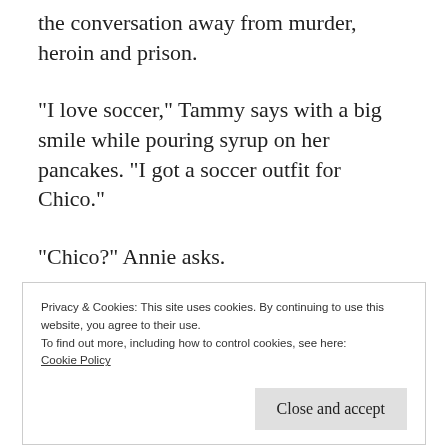the conversation away from murder, heroin and prison.
“I love soccer,” Tammy says with a big smile while pouring syrup on her pancakes. “I got a soccer outfit for Chico.”
“Chico?” Annie asks.
Privacy & Cookies: This site uses cookies. By continuing to use this website, you agree to their use.
To find out more, including how to control cookies, see here:
Cookie Policy
Close and accept